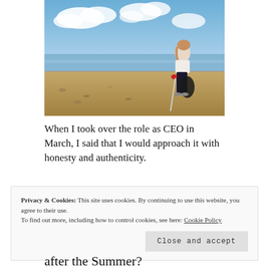[Figure (photo): Woman standing on a beach holding a litter picker and a black bin bag, wearing red gloves, with blue sky and sea in the background.]
When I took over the role as CEO in March, I said that I would approach it with honesty and authenticity.
Privacy & Cookies: This site uses cookies. By continuing to use this website, you agree to their use. To find out more, including how to control cookies, see here: Cookie Policy
Close and accept
after the Summer?